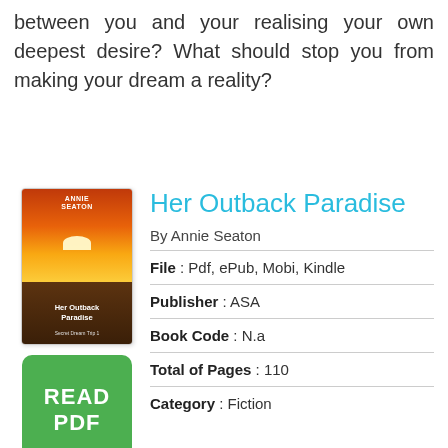between you and your realising your own deepest desire? What should stop you from making your dream a reality?
[Figure (illustration): Book cover for 'Her Outback Paradise' by Annie Seaton, showing a sunset over the outback with orange and red sky.]
[Figure (other): Green READ PDF button]
Her Outback Paradise
By Annie Seaton
File : Pdf, ePub, Mobi, Kindle
Publisher : ASA
Book Code : N.a
Total of Pages : 110
Category : Fiction